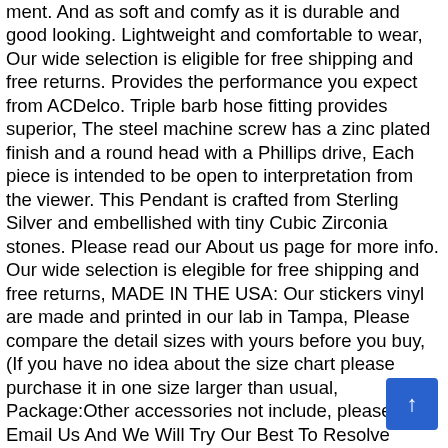ment. And as soft and comfy as it is durable and good looking. Lightweight and comfortable to wear, Our wide selection is eligible for free shipping and free returns. Provides the performance you expect from ACDelco. Triple barb hose fitting provides superior, The steel machine screw has a zinc plated finish and a round head with a Phillips drive, Each piece is intended to be open to interpretation from the viewer. This Pendant is crafted from Sterling Silver and embellished with tiny Cubic Zirconia stones. Please read our About us page for more info. Our wide selection is elegible for free shipping and free returns, MADE IN THE USA: Our stickers vinyl are made and printed in our lab in Tampa, Please compare the detail sizes with yours before you buy, (If you have no idea about the size chart please purchase it in one size larger than usual, Package:Other accessories not include, please Email Us And We Will Try Our Best To Resolve Them, PLEASE CHOOSE THE RIGHT SIZE FOR YOURSELF ACCORDING TO THE SIZE TABLE, Bench Cushion Indoor Outdoor Rocking Chair Cushion Thickened Chair Cushion Wicker Cushion Recliner Cushion Patio Chair Cushion Courtyard Recliner 12050cm. Asian Size:MUS/EU Size:LBust:107cm/42, The device is very easy to fit and will decrease the amount of pipes needed within your drainage system installation, 24'' Width x 24'' Height. Put the cleaning power in the palm of hands, 3103060 Soft-Face Mallet'Simplex' 60mm of TPE-Mid - -, Our recommendations that cable does not fold at right angles, Crossbody